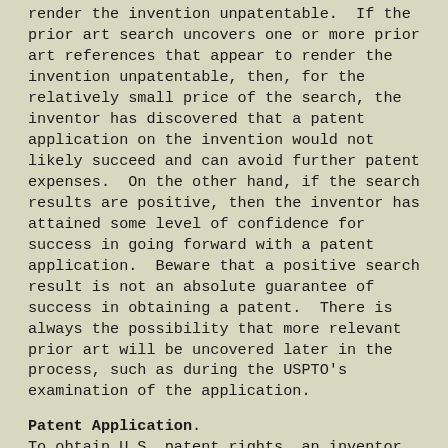render the invention unpatentable.  If the prior art search uncovers one or more prior art references that appear to render the invention unpatentable, then, for the relatively small price of the search, the inventor has discovered that a patent application on the invention would not likely succeed and can avoid further patent expenses.  On the other hand, if the search results are positive, then the inventor has attained some level of confidence for success in going forward with a patent application.  Beware that a positive search result is not an absolute guarantee of success in obtaining a patent.  There is always the possibility that more relevant prior art will be uncovered later in the process, such as during the USPTO's examination of the application.
Patent Application.
To obtain U.S. patent rights, an inventor must file a patent application for the invention in the USPTO.  The application must be in a